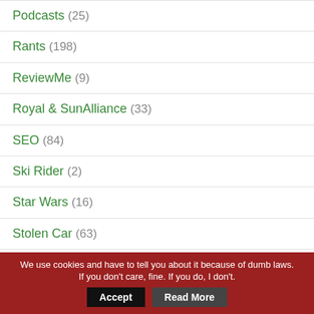Podcasts (25)
Rants (198)
ReviewMe (9)
Royal & SunAlliance (33)
SEO (84)
Ski Rider (2)
Star Wars (16)
Stolen Car (63)
StuckOn (1)
The A-Team (6)
We use cookies and have to tell you about it because of dumb laws. If you don't care, fine. If you do, I don't. Accept Read More